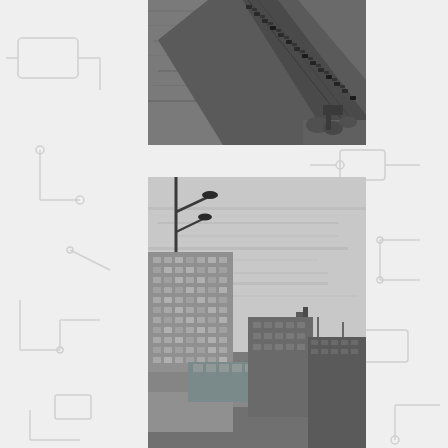[Figure (photo): Black and white aerial photograph of a bridge over water with heavy traffic/vehicles crossing it, viewed from above at an angle]
[Figure (photo): Black and white photograph of an urban cityscape with buildings including a tall multi-story building with grid windows on the left and other city buildings in the background, with a street lamp visible in the upper left, taken under a cloudy sky]